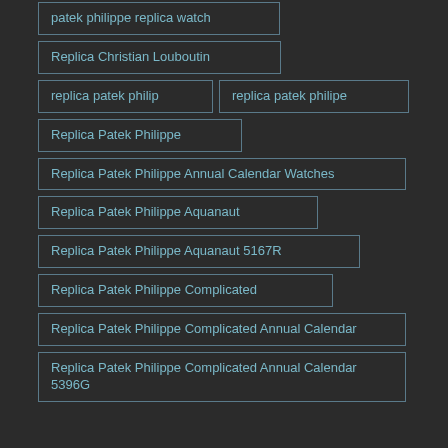patek philippe replica watch
Replica Christian Louboutin
replica patek philip
replica patek philipe
Replica Patek Philippe
Replica Patek Philippe Annual Calendar Watches
Replica Patek Philippe Aquanaut
Replica Patek Philippe Aquanaut 5167R
Replica Patek Philippe Complicated
Replica Patek Philippe Complicated Annual Calendar
Replica Patek Philippe Complicated Annual Calendar 5396G